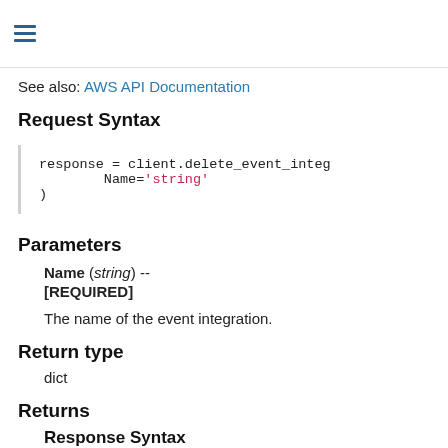See also: AWS API Documentation
Request Syntax
response = client.delete_event_integ
        Name='string'
)
Parameters
Name (string) -- [REQUIRED]
The name of the event integration.
Return type
dict
Returns
Response Syntax